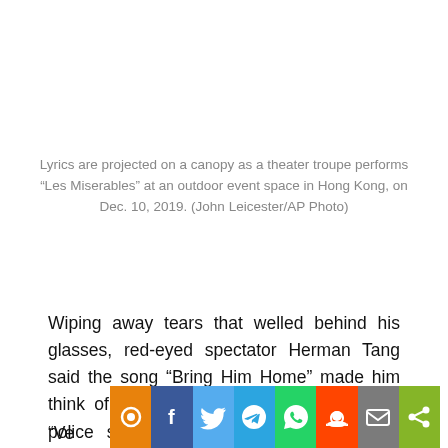Lyrics are projected on a canopy as a theater troupe performs “Les Miserables” at an outdoor event space in Hong Kong, on Dec. 10, 2019. (John Leicester/AP Photo)
Wiping away tears that welled behind his glasses, red-eyed spectator Herman Tang said the song “Bring Him Home” made him think of protesters who were trapped by a police siege of a university campus last month.
“Ve…ng